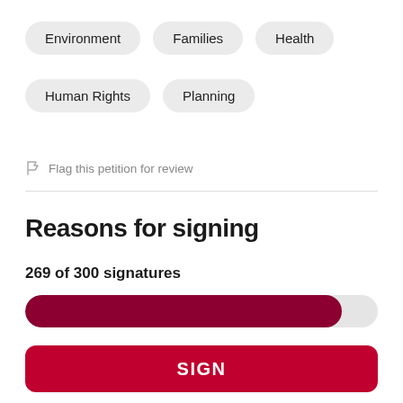Environment
Families
Health
Human Rights
Planning
Flag this petition for review
Reasons for signing
269 of 300 signatures
[Figure (other): Progress bar showing 269 of 300 signatures (approximately 89.7% filled in dark red)]
SIGN